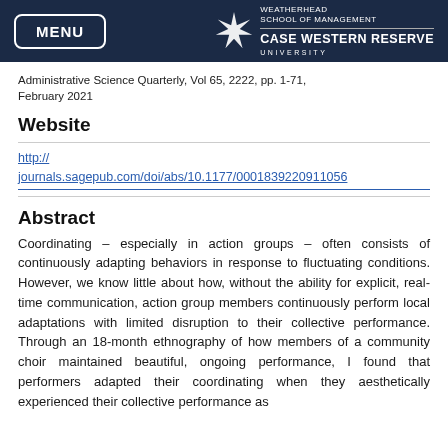MENU | WEATHERHEAD SCHOOL OF MANAGEMENT | CASE WESTERN RESERVE UNIVERSITY
Administrative Science Quarterly, Vol 65, 2022, pp. 1-71, February 2021
Website
http://journals.sagepub.com/doi/abs/10.1177/0001839220911056
Abstract
Coordinating – especially in action groups – often consists of continuously adapting behaviors in response to fluctuating conditions. However, we know little about how, without the ability for explicit, real-time communication, action group members continuously perform local adaptations with limited disruption to their collective performance. Through an 18-month ethnography of how members of a community choir maintained beautiful, ongoing performance, I found that performers adapted their coordinating when they aesthetically experienced their collective performance as…